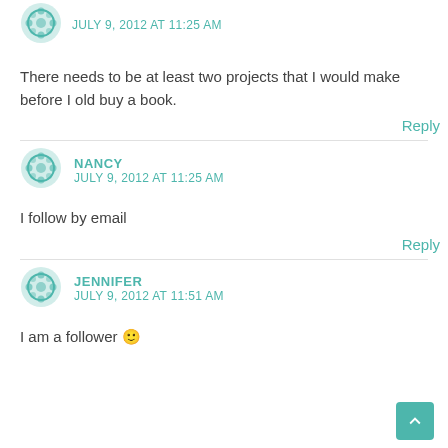JULY 9, 2012 AT 11:25 AM
There needs to be at least two projects that I would make before I old buy a book.
Reply
NANCY
JULY 9, 2012 AT 11:25 AM
I follow by email
Reply
JENNIFER
JULY 9, 2012 AT 11:51 AM
I am a follower 🙂